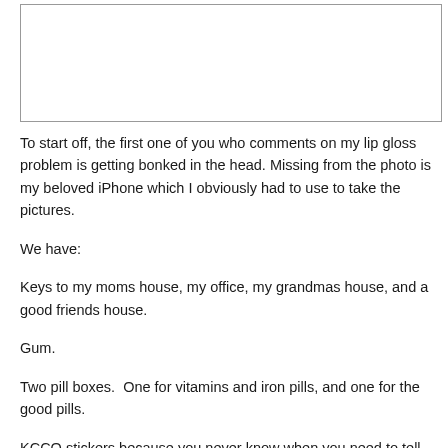[Figure (photo): Empty white box representing a photo placeholder with a border]
To start off, the first one of you who comments on my lip gloss problem is getting bonked in the head. Missing from the photo is my beloved iPhone which I obviously had to use to take the pictures.
We have:
Keys to my moms house, my office, my grandmas house, and a good friends house.
Gum.
Two pill boxes.  One for vitamins and iron pills, and one for the good pills.
KCCO stickers because you never know when you need to tell